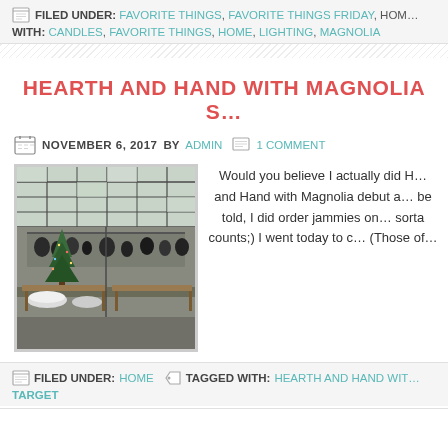FILED UNDER: FAVORITE THINGS, FAVORITE THINGS FRIDAY, HOME… WITH: CANDLES, FAVORITE THINGS, HOME, LIGHTING, MAGNOLIA
HEARTH AND HAND WITH MAGNOLIA S…
NOVEMBER 6, 2017 BY ADMIN   1 COMMENT
[Figure (photo): Interior of a store with greenhouse-style glass ceiling, Christmas tree, shelving with dark pottery and home goods, wooden tables]
Would you believe I actually did Hearth and Hand with Magnolia debut a… be told, I did order jammies on… sorta counts;) I went today to c… (Those of…
FILED UNDER: HOME   TAGGED WITH: HEARTH AND HAND WIT… TARGET